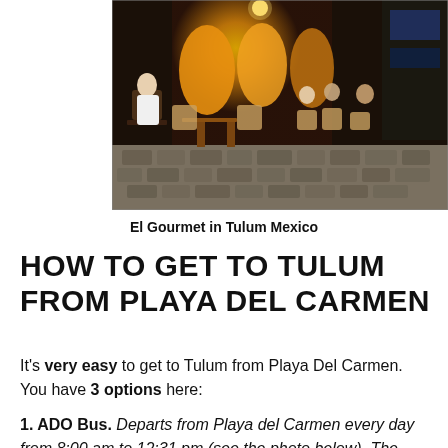[Figure (photo): Outdoor cafe scene at night in El Gourmet, Tulum Mexico. Patrons sitting at wicker chairs and wooden tables with arched storefronts lit in warm orange light in the background.]
El Gourmet in Tulum Mexico
HOW TO GET TO TULUM FROM PLAYA DEL CARMEN
It's very easy to get to Tulum from Playa Del Carmen. You have 3 options here:
1. ADO Bus. Departs from Playa del Carmen every day from 8:00 am to 12:31 pm (see the photo below). The